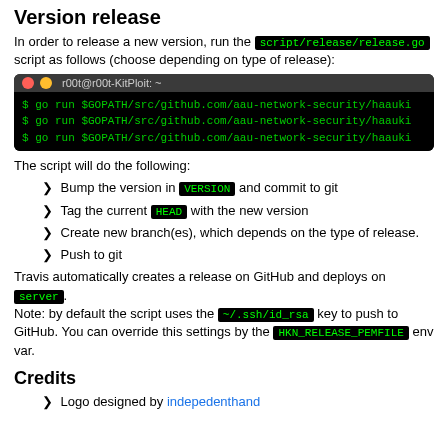Version release
In order to release a new version, run the script/release/release.go script as follows (choose depending on type of release):
[Figure (screenshot): Terminal window showing three go run commands with GOPATH paths to aau-network-security/haauki]
The script will do the following:
Bump the version in VERSION and commit to git
Tag the current HEAD with the new version
Create new branch(es), which depends on the type of release.
Push to git
Travis automatically creates a release on GitHub and deploys on server. Note: by default the script uses the ~/.ssh/id_rsa key to push to GitHub. You can override this settings by the HKN_RELEASE_PEMFILE env var.
Credits
Logo designed by indepedenthand